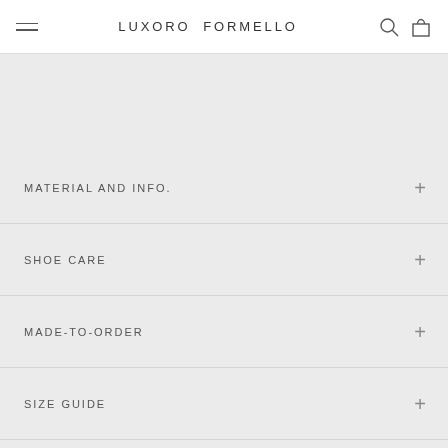LUXORO FORMELLO
MATERIAL AND INFO.
SHOE CARE
MADE-TO-ORDER
SIZE GUIDE
CONTACT US